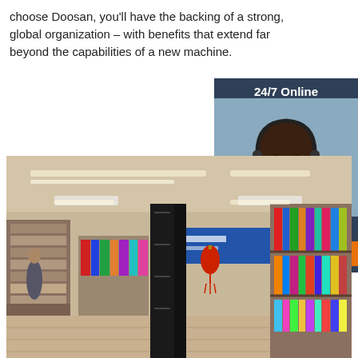choose Doosan, you'll have the backing of a strong, global organization – with benefits that extend far beyond the capabilities of a new machine.
Get Price
[Figure (illustration): 24/7 Online chat support widget with a female customer service agent wearing a headset, with 'Click here for free chat!' text and a QUOTATION button]
[Figure (photo): Interior of a bookstore or library with bookshelves, Chinese signage, red lantern decorations, and shelves full of books and magazines]